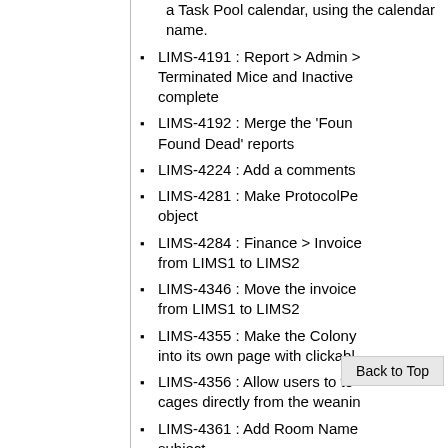a Task Pool calendar, using the calendar name.
LIMS-4191 : Report > Admin > Terminated Mice and Inactive complete
LIMS-4192 : Merge the 'Found Found Dead' reports
LIMS-4224 : Add a comments
LIMS-4281 : Make ProtocolPe object
LIMS-4284 : Finance > Invoice from LIMS1 to LIMS2
LIMS-4346 : Move the invoice from LIMS1 to LIMS2
LIMS-4355 : Make the Colony into its own page with clickable
LIMS-4356 : Allow users to te cages directly from the weanin
LIMS-4361 : Add Room Name subject
LIMS-4366 : Terminating mice welfares should end the welfa health statuses
LIMS-4372 : Th they are starting to spill off the
Back to Top